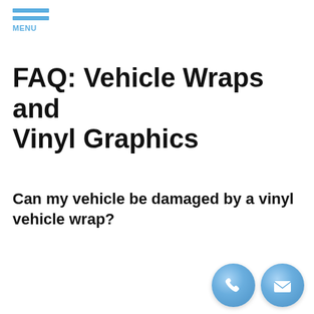MENU
FAQ: Vehicle Wraps and Vinyl Graphics
Can my vehicle be damaged by a vinyl vehicle wrap?
[Figure (illustration): Two circular blue contact icons at bottom right — a phone handset icon and an envelope/mail icon]